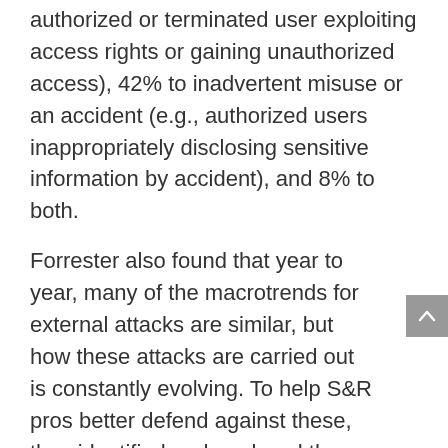authorized or terminated user exploiting access rights or gaining unauthorized access), 42% to inadvertent misuse or an accident (e.g., authorized users inappropriately disclosing sensitive information by accident), and 8% to both.
Forrester also found that year to year, many of the macrotrends for external attacks are similar, but how these attacks are carried out is constantly evolving. To help S&R pros better defend against these, they identified and analyzed the top methods of intrusion.
Why Read This Report
Security and risk (S&R) professionals